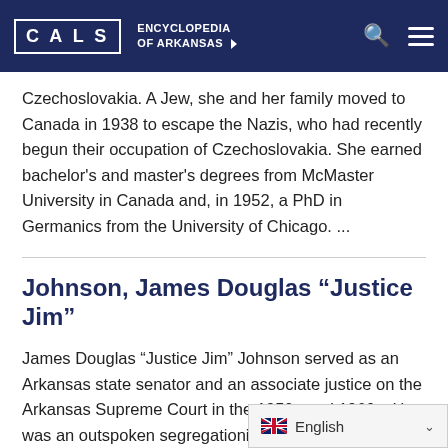CALS ENCYCLOPEDIA OF ARKANSAS
Czechoslovakia. A Jew, she and her family moved to Canada in 1938 to escape the Nazis, who had recently begun their occupation of Czechoslovakia. She earned bachelor's and master's degrees from McMaster University in Canada and, in 1952, a PhD in Germanics from the University of Chicago. ...
Johnson, James Douglas “Justice Jim”
James Douglas “Justice Jim” Johnson served as an Arkansas state senator and an associate justice on the Arkansas Supreme Court in the 1950s and 1960s. He was an outspoken segregationist and ran unsuccessfully against Orval Faubus for governor in 1956. In the 1966 race for Ark…